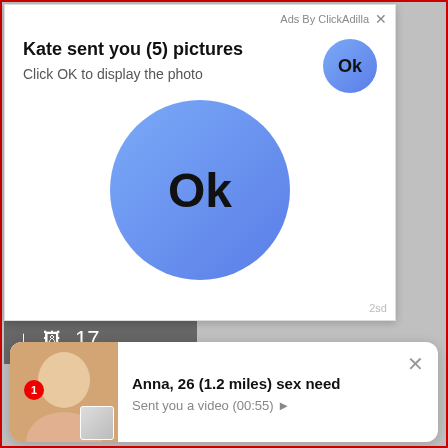Ads By ClickAdilla ×
Kate sent you (5) pictures
Click OK to display the photo
[Figure (illustration): Large blue circular Ok button in center of ad popup]
2sd
↓  🖼 17
[Figure (photo): Thumbnail of a blonde woman]
Anna, 26 (1.2 miles) sex need
Sent you a video (00:55) ▶
×